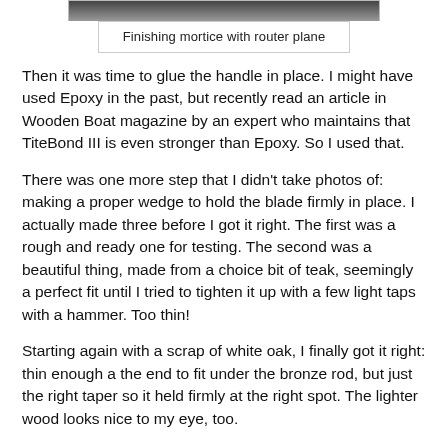[Figure (photo): Top portion of a photo showing finishing a mortice with a router plane, partially cut off at the top of the page]
Finishing mortice with router plane
Then it was time to glue the handle in place. I might have used Epoxy in the past, but recently read an article in Wooden Boat magazine by an expert who maintains that TiteBond III is even stronger than Epoxy. So I used that.
There was one more step that I didn't take photos of: making a proper wedge to hold the blade firmly in place. I actually made three before I got it right. The first was a rough and ready one for testing. The second was a beautiful thing, made from a choice bit of teak, seemingly a perfect fit until I tried to tighten it up with a few light taps with a hammer. Too thin!
Starting again with a scrap of white oak, I finally got it right: thin enough a the end to fit under the bronze rod, but just the right taper so it held firmly at the right spot. The lighter wood looks nice to my eye, too.
All that was left was to give it a rub down with linseed oil, and to give it a final test. The blade was already sharp, I carefully